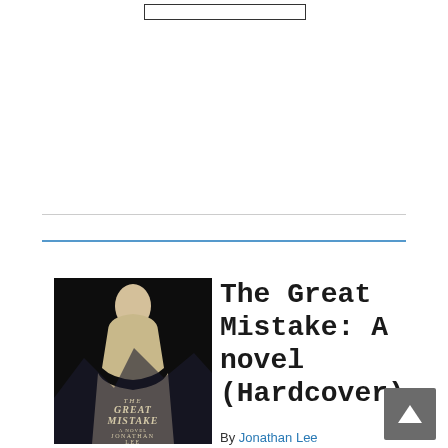[Figure (other): A rectangular outlined box near the top center of the page, appearing as a search or navigation bar outline]
[Figure (photo): Book cover of 'The Great Mistake' by Jonathan Lee. Dark/black background with a silhouette of a person, italic serif title text and author name in cream/tan color.]
The Great Mistake: A novel (Hardcover)
By Jonathan Lee